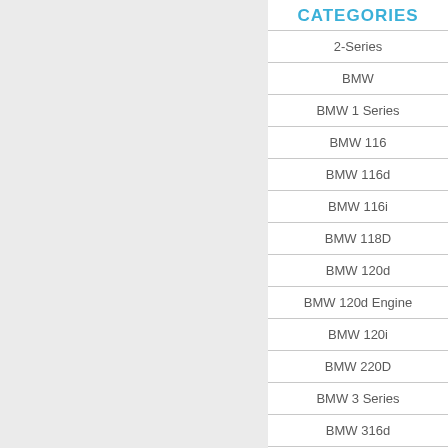CATEGORIES
2-Series
BMW
BMW 1 Series
BMW 116
BMW 116d
BMW 116i
BMW 118D
BMW 120d
BMW 120d Engine
BMW 120i
BMW 220D
BMW 3 Series
BMW 316d
BMW 318d